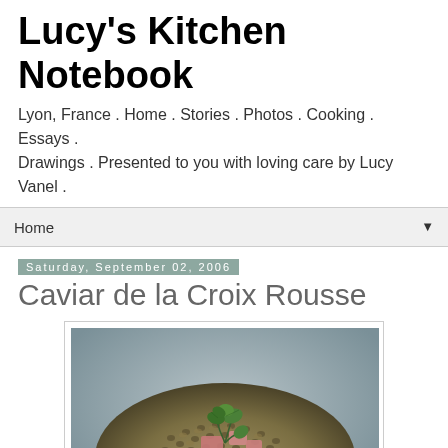Lucy's Kitchen Notebook
Lyon, France . Home . Stories . Photos . Cooking . Essays . Drawings . Presented to you with loving care by Lucy Vanel .
Home ▼
Saturday, September 02, 2006
Caviar de la Croix Rousse
[Figure (photo): A bowl of green-brown lentils topped with pink chunks of meat and a sprig of fresh flat-leaf parsley, on a grey background.]